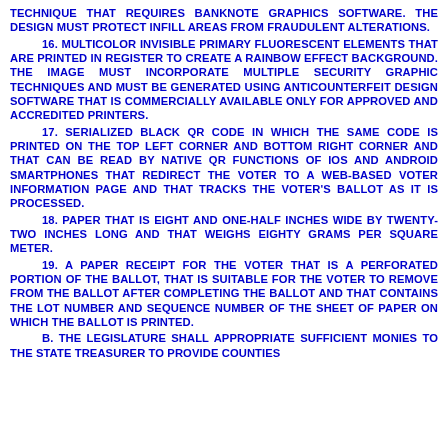TECHNIQUE THAT REQUIRES BANKNOTE GRAPHICS SOFTWARE.  THE DESIGN MUST PROTECT INFILL AREAS FROM FRAUDULENT ALTERATIONS.
16.  MULTICOLOR INVISIBLE PRIMARY FLUORESCENT ELEMENTS THAT ARE PRINTED IN REGISTER TO CREATE A RAINBOW EFFECT BACKGROUND.  THE IMAGE MUST INCORPORATE MULTIPLE SECURITY GRAPHIC TECHNIQUES AND MUST BE GENERATED USING ANTICOUNTERFEIT DESIGN SOFTWARE THAT IS COMMERCIALLY AVAILABLE ONLY FOR APPROVED AND ACCREDITED PRINTERS.
17.  SERIALIZED BLACK QR CODE IN WHICH THE SAME CODE IS PRINTED ON THE TOP LEFT CORNER AND BOTTOM RIGHT CORNER AND THAT CAN BE READ BY NATIVE QR FUNCTIONS OF IOS AND ANDROID SMARTPHONES THAT REDIRECT THE VOTER TO A WEB-BASED VOTER INFORMATION PAGE AND THAT TRACKS THE VOTER'S BALLOT AS IT IS PROCESSED.
18.  PAPER THAT IS EIGHT AND ONE-HALF INCHES WIDE BY TWENTY-TWO INCHES LONG AND THAT WEIGHS EIGHTY GRAMS PER SQUARE METER.
19.  A PAPER RECEIPT FOR THE VOTER THAT IS A PERFORATED PORTION OF THE BALLOT, THAT IS SUITABLE FOR THE VOTER TO REMOVE FROM THE BALLOT AFTER COMPLETING THE BALLOT AND THAT CONTAINS THE LOT NUMBER AND SEQUENCE NUMBER OF THE SHEET OF PAPER ON WHICH THE BALLOT IS PRINTED.
B.  THE LEGISLATURE SHALL APPROPRIATE SUFFICIENT MONIES TO THE STATE TREASURER TO PROVIDE COUNTIES